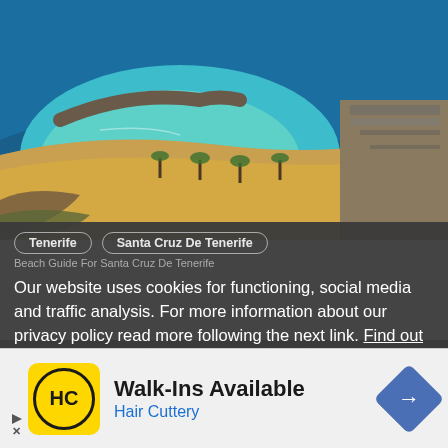[Figure (photo): Aerial view of Las Teresitas beach in Tenerife North, showing a crescent-shaped sandy beach with turquoise water, a breakwater pier, palm trees, and a coastal road]
Tenerife   Santa Cruz De Tenerife
Beach Guide For Santa Cruz De Tenerife
Our website uses cookies for functioning, social media and traffic analysis. For more information about our privacy policy read more following the next link. Find out more
Las Teresitas Beach The Most Beautiful Beach in Tenerife North
[Figure (screenshot): Advertisement banner for Hair Cuttery salon with Walk-Ins Available text, HC logo on yellow background, and navigation arrow icon]